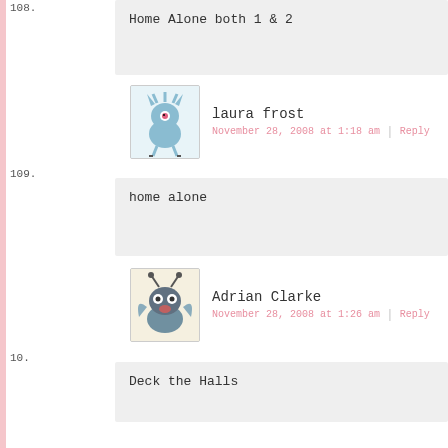Home Alone both 1 & 2
laura frost — November 28, 2008 at 1:18 am | Reply
home alone
Adrian Clarke — November 28, 2008 at 1:26 am | Reply
Deck the Halls
Maria Jane Knight — November 28, 2008 at 1:51 am | Reply